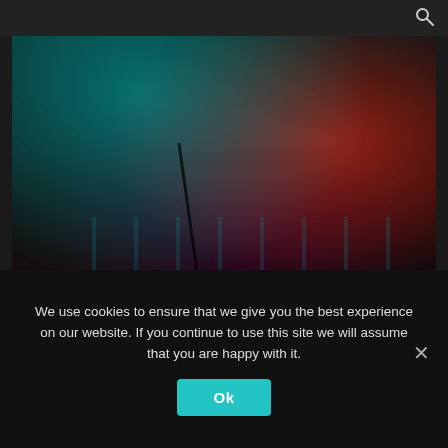🔍
[Figure (photo): Concert photo of Sharon van Etten performing on stage, lit by teal and red stage lighting, leaning into a microphone stand, with arched architectural backdrop.]
Sharon van Etten (c) Jack Parker
We use cookies to ensure that we give you the best experience on our website. If you continue to use this site we will assume that you are happy with it.
Ok